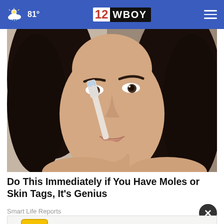81° | 12WBOY
[Figure (photo): Close-up photo of a dark-haired woman applying a toothbrush to the side of her nose, shown against a neutral background.]
Do This Immediately if You Have Moles or Skin Tags, It's Genius
Smart Life Reports
[Figure (screenshot): Advertisement banner: Ashburn OPEN 8AM-8PM, 44110 Ashburn Shopping Plaza 190,. with HC logo in yellow and a blue diamond navigation arrow.]